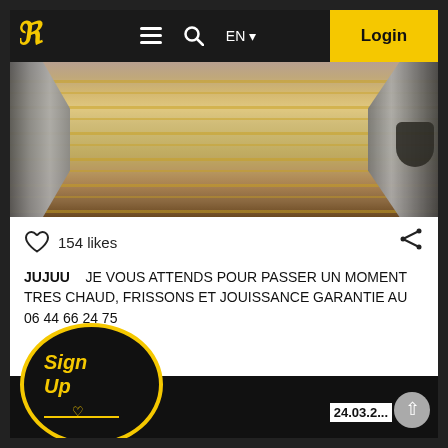Navigation bar with logo, menu icon, search icon, EN language selector, Login button
[Figure (photo): Close-up photo showing a striped yellow-and-white fabric (possibly clothing or bedding) with two metallic objects on the left and right sides, viewed from above.]
154 likes
JUJUU   JE VOUS ATTENDS POUR PASSER UN MOMENT TRES CHAUD, FRISSONS ET JOUISSANCE GARANTIE AU 06 44 66 24 75
[Figure (other): Sign Up circular button overlay with yellow border, yellow italic 'Sign Up' text, small heart icon, and a yellow horizontal line inside a black circle]
24.03.2...